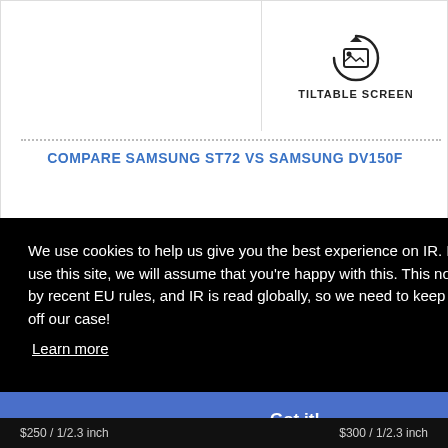[Figure (other): Tiltable screen icon with camera/rotate symbol]
TILTABLE SCREEN
COMPARE SAMSUNG ST72 vs SAMSUNG DV150F
We use cookies to help us give you the best experience on IR. If you continue to use this site, we will assume that you're happy with this. This notice is required by recent EU rules, and IR is read globally, so we need to keep the bureaucrats off our case!
Learn more
Got it!
$250 / 1/2.3 inch
$300 / 1/2.3 inch